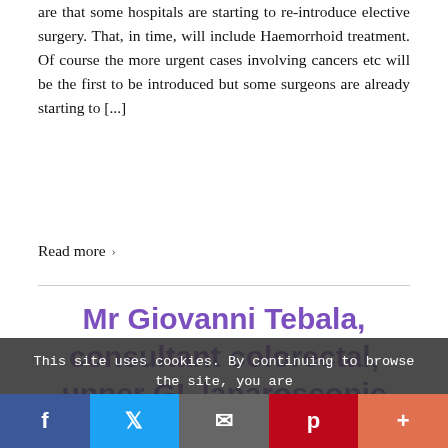are that some hospitals are starting to re-introduce elective surgery. That, in time, will include Haemorrhoid treatment. Of course the more urgent cases involving cancers etc will be the first to be introduced but some surgeons are already starting to [...]
Read more ›
Mr Giovanni Tebala, consultant colorectal, upper GI, laparoscopic surgeon based in
This site uses cookies. By continuing to browse the site, you are agreeing to our use of cookies.